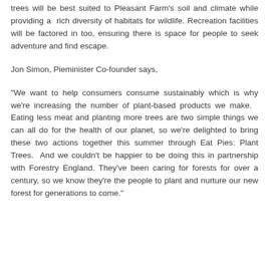trees will be best suited to Pleasant Farm's soil and climate while providing a rich diversity of habitats for wildlife. Recreation facilities will be factored in too, ensuring there is space for people to seek adventure and find escape.
Jon Simon, Pieminister Co-founder says,
"We want to help consumers consume sustainably which is why we're increasing the number of plant-based products we make. Eating less meat and planting more trees are two simple things we can all do for the health of our planet, so we're delighted to bring these two actions together this summer through Eat Pies: Plant Trees. And we couldn't be happier to be doing this in partnership with Forestry England. They've been caring for forests for over a century, so we know they're the people to plant and nurture our new forest for generations to come."